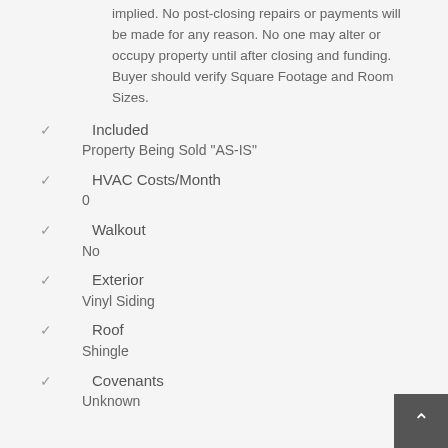implied. No post-closing repairs or payments will be made for any reason. No one may alter or occupy property until after closing and funding. Buyer should verify Square Footage and Room Sizes.
Included
Property Being Sold "AS-IS"
HVAC Costs/Month
0
Walkout
No
Exterior
Vinyl Siding
Roof
Shingle
Covenants
Unknown